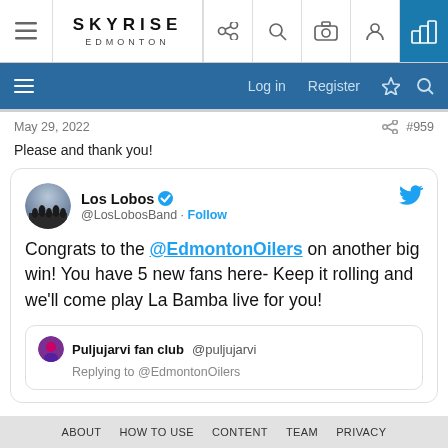[Figure (screenshot): Skyrise Edmonton website top navigation bar with logo, menu icon, and icons for share, search, camera, profile, and active city icon]
Log in   Register
May 29, 2022   #959
Please and thank you!
[Figure (screenshot): Embedded tweet from Los Lobos (@LosLobosBand) with Follow button and Twitter bird logo. Tweet text: Congrats to the @EdmontonOilers on another big win! You have 5 new fans here- Keep it rolling and we'll come play La Bamba live for you! Nested reply card from Puljujarvi fan club @puljujarvi: Replying to @EdmontonOilers]
ABOUT   HOW TO USE   CONTENT   TEAM   PRIVACY